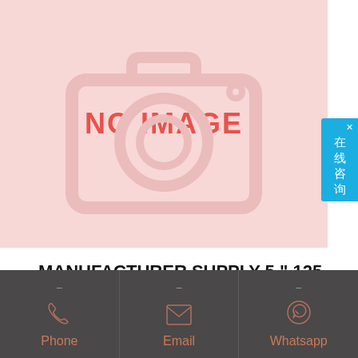[Figure (illustration): Pink 'NO IMAGE' placeholder with camera icon outline in the background]
MANUFACTURER SUPPLY 5 " 125 MM CUTTING WHEEL OF INDIA
Cutting Wheels – Cutting Disc Latest Price, Manufacturers Find here Cutting Wheels, Cutting Disc manufacturers, suppliers & exporters in India. Get contact details & address [...]
Phone | Email | Whatsapp